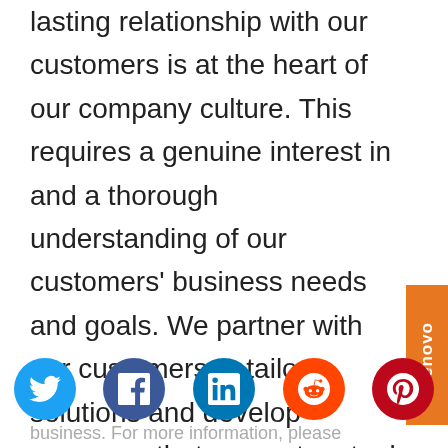lasting relationship with our customers is at the heart of our company culture. This requires a genuine interest in and a thorough understanding of our customers' business needs and goals. We partner with our customers to tailor solutions and develop programs that support mutual growth and profitability. We care not only about our customers, but also about the communities in which we operate. We strive to have a positive social and environmental impact through our
[Figure (infographic): Lenovo orange vertical tab on the right side of the page]
[Figure (infographic): Social media sharing icons row: Twitter (blue), Facebook (dark blue), LinkedIn (blue), Reddit (orange), Pinterest (red)]
business. For more information, please